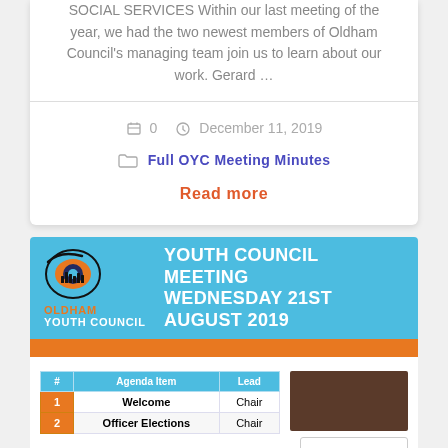SOCIAL SERVICES Within our last meeting of the year, we had the two newest members of Oldham Council's managing team join us to learn about our work. Gerard …
0   December 11, 2019
Full OYC Meeting Minutes
Read more
[Figure (logo): Oldham Youth Council banner with logo and text: YOUTH COUNCIL MEETING WEDNESDAY 21ST AUGUST 2019]
| # | Agenda Item | Lead |
| --- | --- | --- |
| 1 | Welcome | Chair |
| 2 | Officer Elections | Chair |